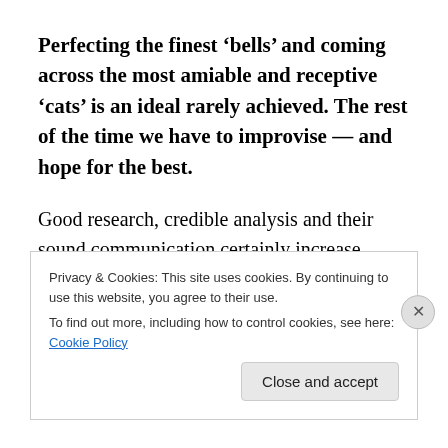Perfecting the finest ‘bells’ and coming across the most amiable and receptive ‘cats’ is an ideal rarely achieved. The rest of the time we have to improvise — and hope for the best.
Good research, credible analysis and their sound communication certainly increase chances of policy engagement and eventual influence.
How Can Communications Help in this process? This was
Privacy & Cookies: This site uses cookies. By continuing to use this website, you agree to their use.
To find out more, including how to control cookies, see here: Cookie Policy
Close and accept